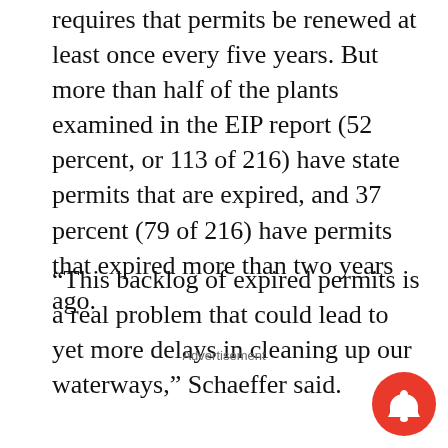requires that permits be renewed at least once every five years. But more than half of the plants examined in the EIP report (52 percent, or 113 of 216) have state permits that are expired, and 37 percent (79 of 216) have permits that expired more than two years ago.
“This backlog of expired permits is a real problem that could lead to yet more delays in cleaning up our waterways,” Schaeffer said.
Advertisement